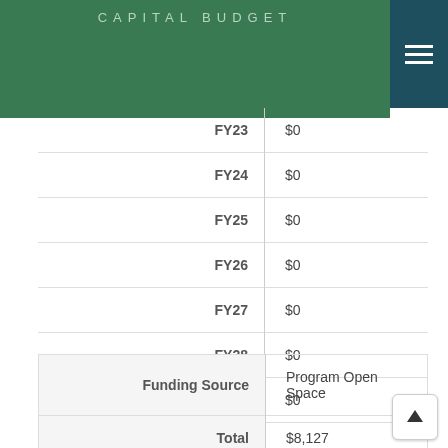CAPITAL BUDGET
| Label | Value |
| --- | --- |
| FY23 | $0 |
| FY24 | $0 |
| FY25 | $0 |
| FY26 | $0 |
| FY27 | $0 |
| FY28 | $0 |
| Beyond 6 Years | $0 |
| Label | Value |
| --- | --- |
| Funding Source | Program Open Space |
| Total | $8,127 |